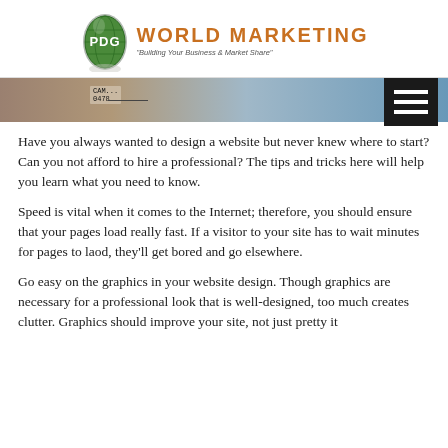PDG World Marketing - Building Your Business & Market Share
[Figure (photo): Partial hero/banner image showing hands and a blue background, cropped at top]
Have you always wanted to design a website but never knew where to start? Can you not afford to hire a professional? The tips and tricks here will help you learn what you need to know.
Speed is vital when it comes to the Internet; therefore, you should ensure that your pages load really fast. If a visitor to your site has to wait minutes for pages to laod, they'll get bored and go elsewhere.
Go easy on the graphics in your website design. Though graphics are necessary for a professional look that is well-designed, too much creates clutter. Graphics should improve your site, not just pretty it